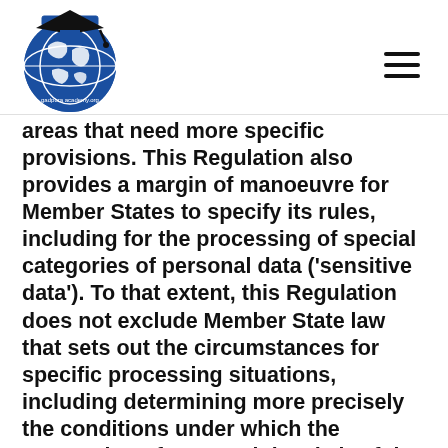[Figure (logo): Gadpora Academy logo: blue circular globe with graduation cap, text 'gadpors.academy.org']
areas that need more specific provisions. This Regulation also provides a margin of manoeuvre for Member States to specify its rules, including for the processing of special categories of personal data ('sensitive data'). To that extent, this Regulation does not exclude Member State law that sets out the circumstances for specific processing situations, including determining more precisely the conditions under which the processing of personal data is lawful.